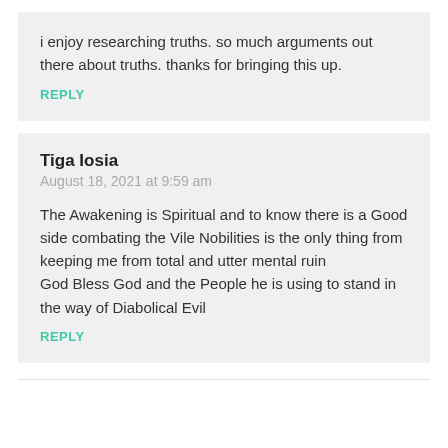i enjoy researching truths. so much arguments out there about truths. thanks for bringing this up.
REPLY
Tiga Iosia
August 18, 2021 at 9:59 am
The Awakening is Spiritual and to know there is a Good side combating the Vile Nobilities is the only thing from keeping me from total and utter mental ruin
God Bless God and the People he is using to stand in the way of Diabolical Evil
REPLY